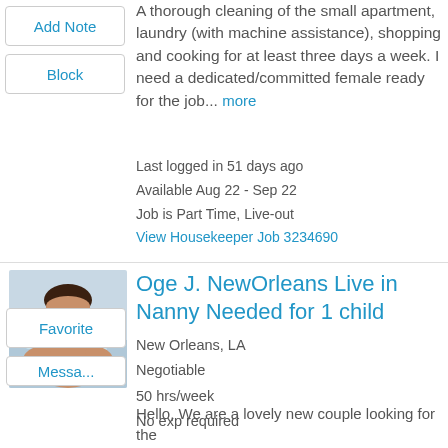A thorough cleaning of the small apartment, laundry (with machine assistance), shopping and cooking for at least three days a week. I need a dedicated/committed female ready for the job... more
Last logged in 51 days ago
Available Aug 22 - Sep 22
Job is Part Time, Live-out
View Housekeeper Job 3234690
Oge J. NewOrleans Live in Nanny Needed for 1 child
New Orleans, LA
Negotiable
50 hrs/week
No exp required
Hello, We are a lovely new couple looking for the